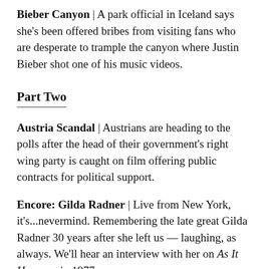Bieber Canyon | A park official in Iceland says she's been offered bribes from visiting fans who are desperate to trample the canyon where Justin Bieber shot one of his music videos.
Part Two
Austria Scandal | Austrians are heading to the polls after the head of their government's right wing party is caught on film offering public contracts for political support.
Encore: Gilda Radner | Live from New York, it's...nevermind. Remembering the late great Gilda Radner 30 years after she left us — laughing, as always. We'll hear an interview with her on As It Happens in 1977.